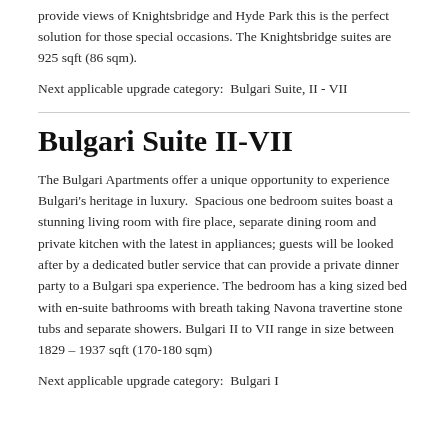provide views of Knightsbridge and Hyde Park this is the perfect solution for those special occasions. The Knightsbridge suites are 925 sqft (86 sqm).
Next applicable upgrade category:  Bulgari Suite, II - VII
Bulgari Suite II-VII
The Bulgari Apartments offer a unique opportunity to experience Bulgari's heritage in luxury.  Spacious one bedroom suites boast a stunning living room with fire place, separate dining room and private kitchen with the latest in appliances; guests will be looked after by a dedicated butler service that can provide a private dinner party to a Bulgari spa experience. The bedroom has a king sized bed with en-suite bathrooms with breath taking Navona travertine stone tubs and separate showers. Bulgari II to VII range in size between 1829 – 1937 sqft (170-180 sqm)
Next applicable upgrade category:  Bulgari I